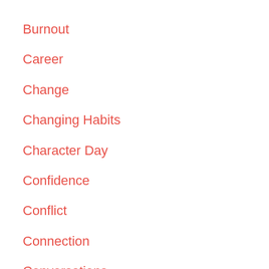Burnout
Career
Change
Changing Habits
Character Day
Confidence
Conflict
Connection
Conversations
Coronavirus